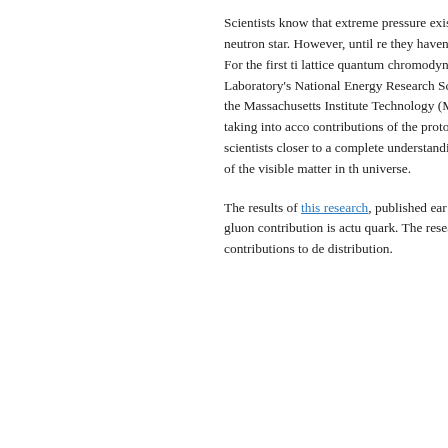Scientists know that extreme pressure exists inside a proton — pressure far stronger than that inside a neutron star. However, until recently, they haven't understood much about pressure distribution inside the proton. For the first time, lattice quantum chromodynamics (LQCD) calculations run at Lawrence Berkeley National Laboratory's National Energy Research Scientific Computing Center (NERSC) allowed nuclear physicists from the Massachusetts Institute of Technology (MIT) to determine the pressure distribution inside a proton, taking into account contributions of the proton's fundamental particles, quarks and gluons. This discovery brings nuclear scientists closer to a complete understanding of the proton's structure and the fundamental particles that make up most of the visible matter in the universe.
The results of this research, published earlier on the journal cover, show that gluons are important, revealing that the gluon contribution is actually larger than quark. The researchers combined their LQCD calculations of the quark contributions to determine the distribution.